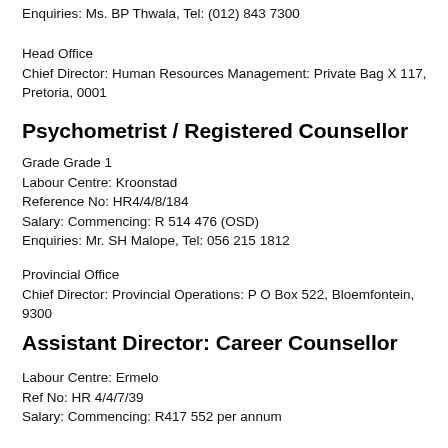Enquiries: Ms. BP Thwala, Tel: (012) 843 7300
Head Office
Chief Director: Human Resources Management: Private Bag X 117, Pretoria, 0001
Psychometrist / Registered Counsellor
Grade Grade 1
Labour Centre: Kroonstad
Reference No: HR4/4/8/184
Salary: Commencing: R 514 476 (OSD)
Enquiries: Mr. SH Malope, Tel: 056 215 1812
Provincial Office
Chief Director: Provincial Operations: P O Box 522, Bloemfontein, 9300
Assistant Director: Career Counsellor
Labour Centre: Ermelo
Ref No: HR 4/4/7/39
Salary: Commencing: R417 552 per annum